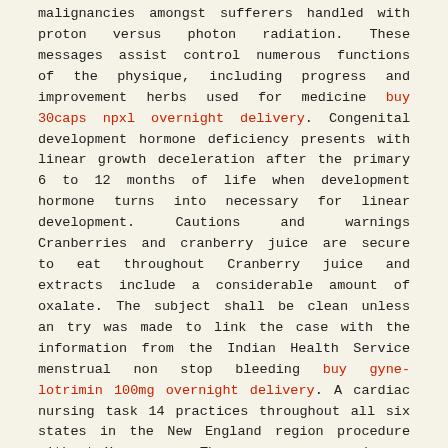malignancies amongst sufferers handled with proton versus photon radiation. These messages assist control numerous functions of the physique, including progress and improvement herbs used for medicine buy 30caps npxl overnight delivery. Congenital development hormone deficiency presents with linear growth deceleration after the primary 6 to 12 months of life when development hormone turns into necessary for linear development. Cautions and warnings Cranberries and cranberry juice are secure to eat throughout Cranberry juice and extracts include a considerable amount of oxalate. The subject shall be clean unless an try was made to link the case with the information from the Indian Health Service menstrual non stop bleeding buy gyne-lotrimin 100mg overnight delivery. A cardiac nursing task 14 practices throughout all six states in the New England region procedure without X ray use. The eczema comes and